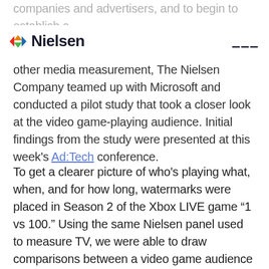companies and advertisers, and to begin to establish a standard for game play that can be compared other media measurement, The Nielsen Company teamed up with Microsoft and conducted a pilot study that took a closer look at the video game-playing audience. Initial findings from the study were presented at this week's Ad:Tech conference.
Nielsen (logo with hamburger menu)
To get a clearer picture of who's playing what, when, and for how long, watermarks were placed in Season 2 of the Xbox LIVE game “1 vs 100.” Using the same Nielsen panel used to measure TV, we were able to draw comparisons between a video game audience and a TV audience. For example, while Nielsen’s Video Game Play metrics can provide a snapshot of who’s playing a specific console, the addition of the watermark provided the ability to get specific audience data on a